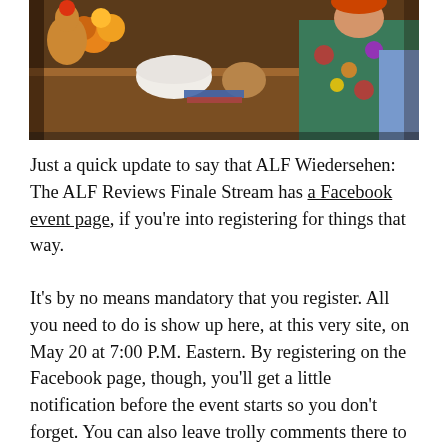[Figure (photo): A photo showing what appears to be a TV set scene with a person in a colorful floral shirt sitting at a wooden table, with decorative items and flowers visible in the background.]
Just a quick update to say that ALF Wiedersehen: The ALF Reviews Finale Stream has a Facebook event page, if you're into registering for things that way.
It's by no means mandatory that you register. All you need to do is show up here, at this very site, on May 20 at 7:00 P.M. Eastern. By registering on the Facebook page, though, you'll get a little notification before the event starts so you don't forget. You can also leave trolly comments there to make me realize how much of my life I've wasted on this.